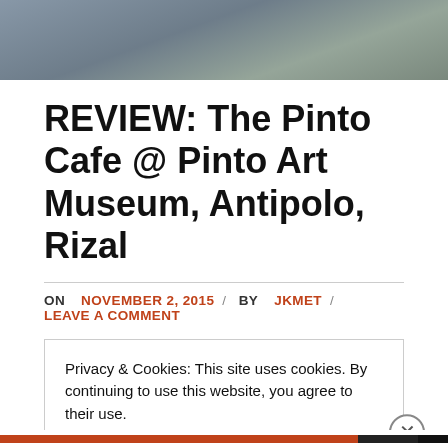[Figure (photo): Outdoor cafe scene, top portion of image showing table and background]
REVIEW: The Pinto Cafe @ Pinto Art Museum, Antipolo, Rizal
ON NOVEMBER 2, 2015 / BY JKMET / LEAVE A COMMENT
Privacy & Cookies: This site uses cookies. By continuing to use this website, you agree to their use.
To find out more, including how to control cookies, see here: Cookie Policy
Close and accept